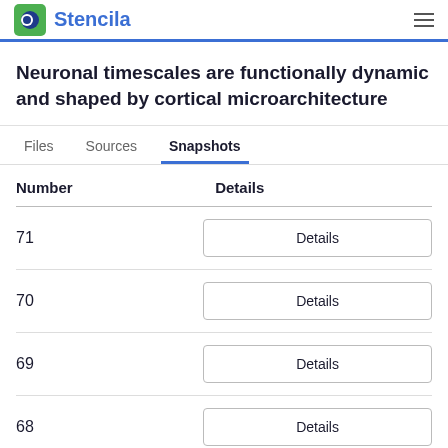Stencila
Neuronal timescales are functionally dynamic and shaped by cortical microarchitecture
Files   Sources   Snapshots
| Number | Details |
| --- | --- |
| 71 | Details |
| 70 | Details |
| 69 | Details |
| 68 | Details |